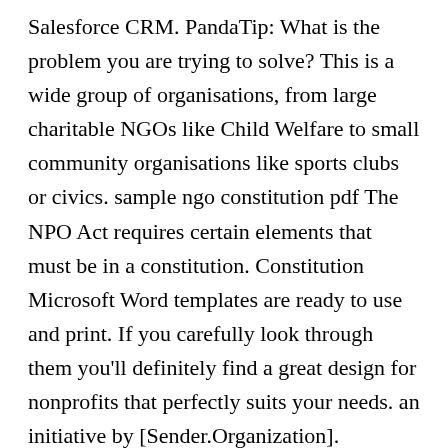Salesforce CRM. PandaTip: What is the problem you are trying to solve? This is a wide group of organisations, from large charitable NGOs like Child Welfare to small community organisations like sports clubs or civics. sample ngo constitution pdf The NPO Act requires certain elements that must be in a constitution. Constitution Microsoft Word templates are ready to use and print. If you carefully look through them you'll definitely find a great design for nonprofits that perfectly suits your needs. an initiative by [Sender.Organization]. Downloadable constitution template for companies limited by guarantee seeking to register with the ACNC. We hope that you like this collection of free NGO templates and will